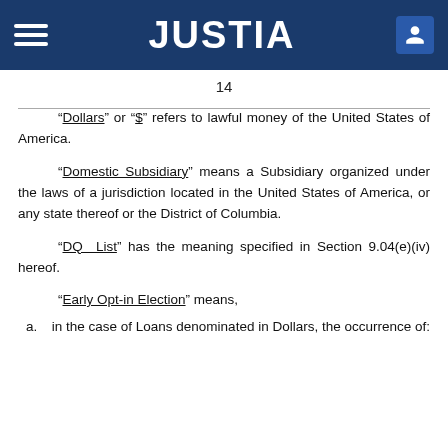JUSTIA
14
“Dollars” or “$” refers to lawful money of the United States of America.
“Domestic Subsidiary” means a Subsidiary organized under the laws of a jurisdiction located in the United States of America, or any state thereof or the District of Columbia.
“DQ List” has the meaning specified in Section 9.04(e)(iv) hereof.
“Early Opt-in Election” means,
a.	in the case of Loans denominated in Dollars, the occurrence of: